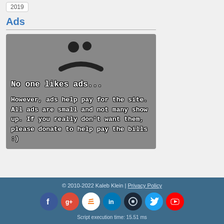2019
Ads
[Figure (illustration): Ad blocker message box with sad person icon. Text reads: No one likes ads... However, ads help pay for the site. All ads are small and not many show up. If you really don't want them, please donate to help pay the bills :)]
© 2010-2022 Kaleb Klein | Privacy Policy
Script execution time: 15.51 ms